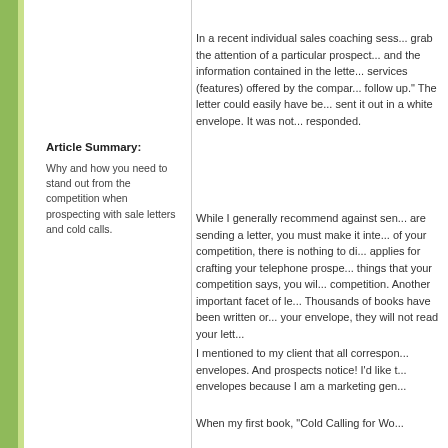Article Summary:
Why and how you need to stand out from the competition when prospecting with sale letters and cold calls.
In a recent individual sales coaching sess... grab the attention of a particular prospect... and the information contained in the lette... services (features) offered by the compar... follow up." The letter could easily have be... sent it out in a white envelope. It was not... responded.
While I generally recommend against sen... are sending a letter, you must make it inte... of your competition, there is nothing to di... applies for crafting your telephone prospe... things that your competition says, you wil... competition. Another important facet of le... Thousands of books have been written or... your envelope, they will not read your lett...
I mentioned to my client that all correspon... envelopes. And prospects notice! I'd like t... envelopes because I am a marketing gen...
When my first book, "Cold Calling for Wo...